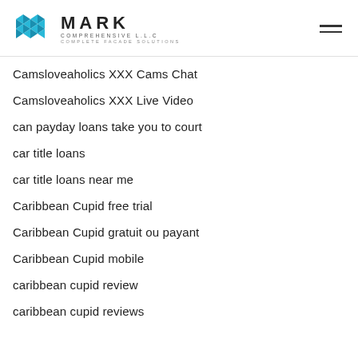MARK COMPREHENSIVE L.L.C — COMPLETE FACADE SOLUTIONS
Camsloveaholics XXX Cams Chat
Camsloveaholics XXX Live Video
can payday loans take you to court
car title loans
car title loans near me
Caribbean Cupid free trial
Caribbean Cupid gratuit ou payant
Caribbean Cupid mobile
caribbean cupid review
caribbean cupid reviews